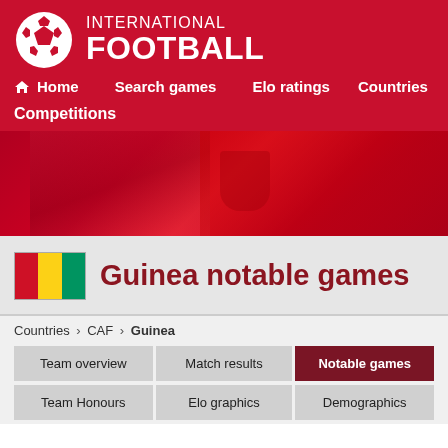[Figure (logo): International Football website header with football/soccer ball logo, white on red background, with site title 'INTERNATIONAL FOOTBALL']
Home  Search games  Elo ratings  Countries
Competitions
[Figure (photo): Hero image showing red football jerseys/shirts in background]
[Figure (illustration): Guinea national flag - vertical tricolor red, yellow, green]
Guinea notable games
Countries > CAF > Guinea
Team overview
Match results
Notable games
Team Honours
Elo graphics
Demographics